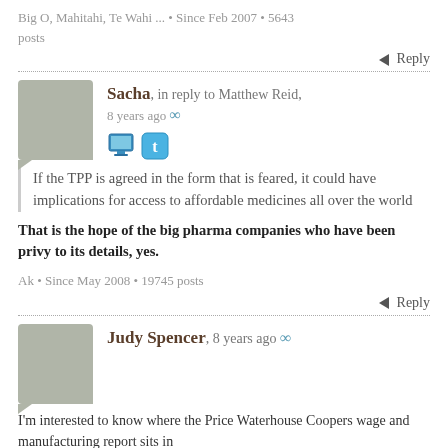Big O, Mahitahi, Te Wahi ... • Since Feb 2007 • 5643 posts
Reply
Sacha, in reply to Matthew Reid, 8 years ago
If the TPP is agreed in the form that is feared, it could have implications for access to affordable medicines all over the world
That is the hope of the big pharma companies who have been privy to its details, yes.
Ak • Since May 2008 • 19745 posts
Reply
Judy Spencer, 8 years ago
I'm interested to know where the Price Waterhouse Coopers wage and manufacturing report sits in